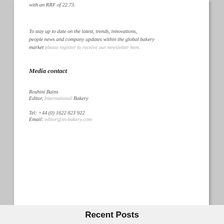with an RRF of 22.73.
To stay up to date on the latest, trends, innovations, people news and company updates within the global bakery market please register to receive our newsletter here.
Media contact
Roshini Bains
Editor, International Bakery
Tel: +44 (0) 1622 823 922
Email: editor@in-bakery.com
Recent Posts